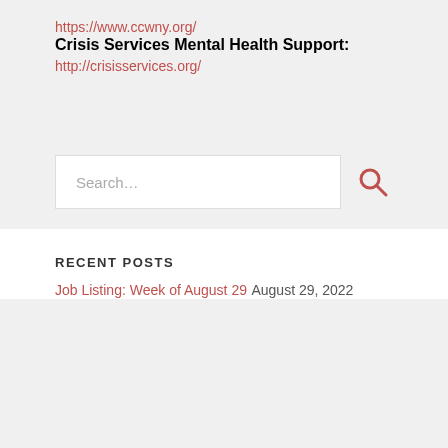https://www.ccwny.org/
Crisis Services Mental Health Support:
http://crisisservices.org/
Search...
RECENT POSTS
Job Listing: Week of August 29  August 29, 2022